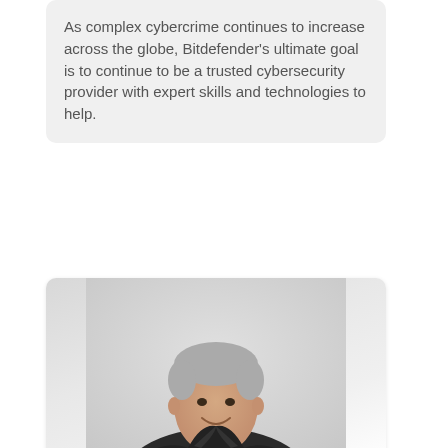As complex cybercrime continues to increase across the globe, Bitdefender's ultimate goal is to continue to be a trusted cybersecurity provider with expert skills and technologies to help.
[Figure (photo): Professional headshot of a middle-aged man with gray hair wearing a dark blazer and red shirt, smiling, against a light gray background.]
CYBERSECURITY
Breaking the myths of Zero Trust model and understanding how it can protect your organisation